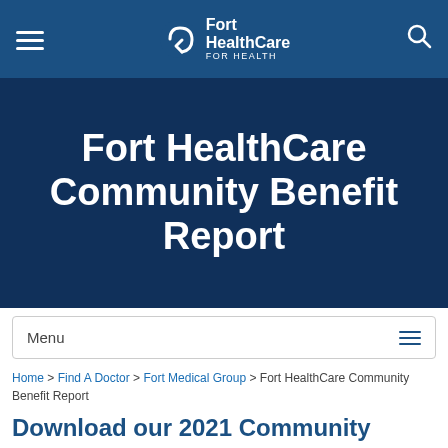Fort HealthCare — Navigation bar with hamburger menu, logo, and search icon
Fort HealthCare Community Benefit Report
Menu
Home > Find A Doctor > Fort Medical Group > Fort HealthCare Community Benefit Report
Download our 2021 Community Benefit Report: